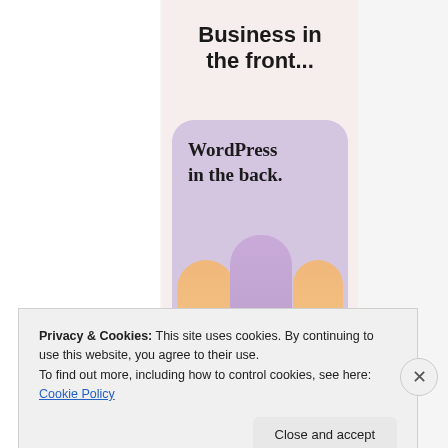[Figure (illustration): WordPress advertisement card showing 'Business in the front...' text above and 'WordPress in the back.' text on a rounded purple card with decorative pill/arch shapes in peach and purple colors below]
Privacy & Cookies: This site uses cookies. By continuing to use this website, you agree to their use.
To find out more, including how to control cookies, see here: Cookie Policy